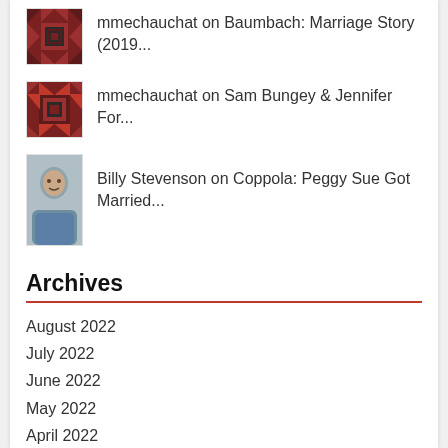mmechauchat on Baumbach: Marriage Story (2019...
mmechauchat on Sam Bungey & Jennifer For...
Billy Stevenson on Coppola: Peggy Sue Got Married...
Archives
August 2022
July 2022
June 2022
May 2022
April 2022
March 2022
February 2022